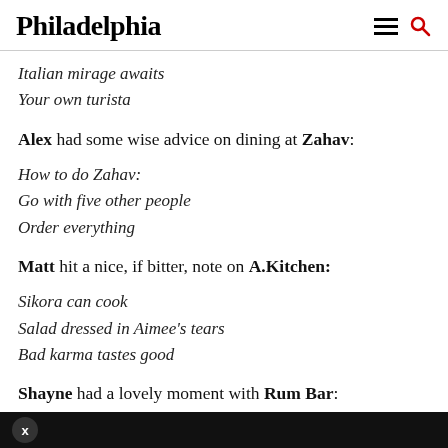Philadelphia
Italian mirage awaits
Your own turista
Alex had some wise advice on dining at Zahav:
How to do Zahav:
Go with five other people
Order everything
Matt hit a nice, if bitter, note on A.Kitchen:
Sikora can cook
Salad dressed in Aimee's tears
Bad karma tastes good
Shayne had a lovely moment with Rum Bar: